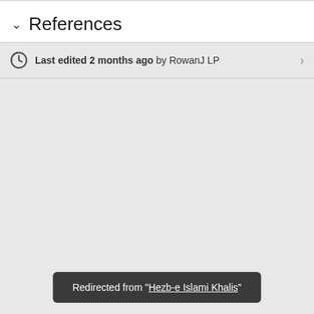References
Last edited 2 months ago by RowanJ LP
Redirected from "Hezb-e Islami Khalis"